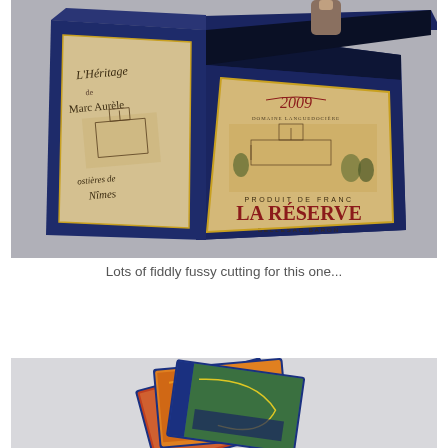[Figure (photo): An open dark blue box showing wine bottle labels inside. The front panel shows a French wine label reading '2009 LA RÉSERVE PRODUIT DE FRANC BELLESAC BARON' with an estate illustration. The left panel shows another label reading 'L'Héritage de Marc Aurèle ostières de Nîmes' with a building sketch.]
Lots of fiddly fussy cutting for this one...
[Figure (photo): A partial view of colorful cards or booklets with blue spines and decorative artwork, arranged diagonally on a light background.]